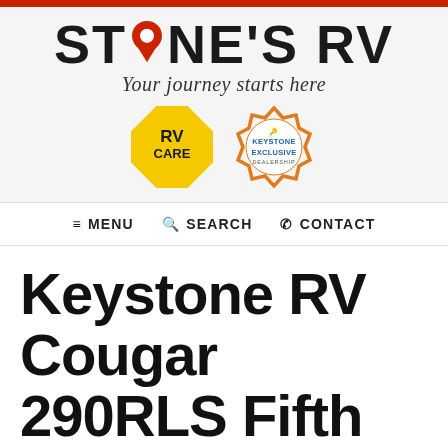[Figure (logo): Stone's RV logo with location pin icon replacing the O in STONE'S, tagline 'Your journey starts here', RV Care badge and Keystone Exclusive Dealership badge]
≡ MENU  🔍 SEARCH  ☎ CONTACT
Keystone RV Cougar 290RLS Fifth Wheel For Sale